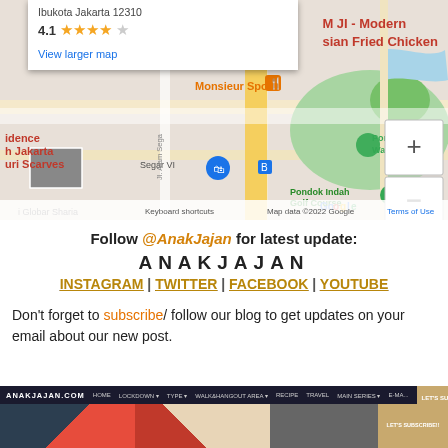[Figure (map): Google Maps screenshot showing location near Pondok Indah area, Jakarta. Shows map with Monsieur Spoon label, Pondok Indah Water Park, Pondok Indah Golf Course, zoom controls (+/-), and a popup card showing 'Ibukota Jakarta 12310', rating 4.1 stars, 'View larger map' link, and partial label 'M JI - Modern sian Fried Chicken' in red.]
Follow @AnakJajan for latest update:
ANAKJAJAN
INSTAGRAM | TWITTER | FACEBOOK | YOUTUBE
Don't forget to subscribe/ follow our blog to get updates on your email about our new post.
[Figure (screenshot): Screenshot of ANAKJAJAN.COM website showing navigation bar with menu items and a subscribe button, with preview images below.]